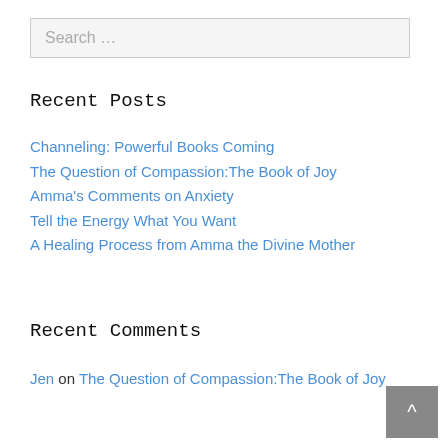Search …
Recent Posts
Channeling: Powerful Books Coming
The Question of Compassion:The Book of Joy
Amma's Comments on Anxiety
Tell the Energy What You Want
A Healing Process from Amma the Divine Mother
Recent Comments
Jen on The Question of Compassion:The Book of Joy